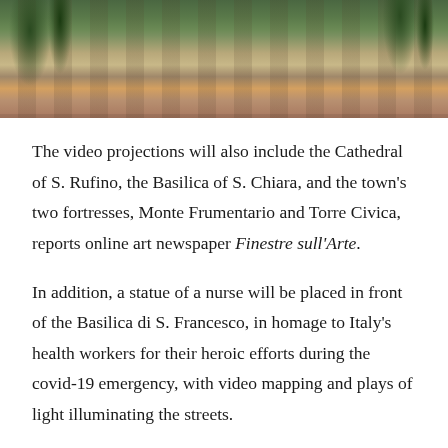[Figure (photo): Aerial or elevated view of an Italian hilltown showing terracotta rooftops and cypress trees, partially cropped at the top of the page.]
The video projections will also include the Cathedral of S. Rufino, the Basilica of S. Chiara, and the town's two fortresses, Monte Frumentario and Torre Civica, reports online art newspaper Finestre sull'Arte.
In addition, a statue of a nurse will be placed in front of the Basilica di S. Francesco, in homage to Italy's health workers for their heroic efforts during the covid-19 emergency, with video mapping and plays of light illuminating the streets.
Each evening, from 17.00 – 22.00, every 30 min Giotto's